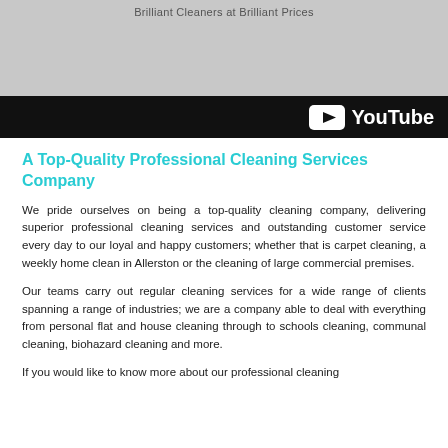[Figure (screenshot): YouTube video thumbnail showing a grey background with the tagline 'Brilliant Cleaners at Brilliant Prices' and a YouTube logo bar at the bottom]
A Top-Quality Professional Cleaning Services Company
We pride ourselves on being a top-quality cleaning company, delivering superior professional cleaning services and outstanding customer service every day to our loyal and happy customers; whether that is carpet cleaning, a weekly home clean in Allerston or the cleaning of large commercial premises.
Our teams carry out regular cleaning services for a wide range of clients spanning a range of industries; we are a company able to deal with everything from personal flat and house cleaning through to schools cleaning, communal cleaning, biohazard cleaning and more.
If you would like to know more about our professional cleaning